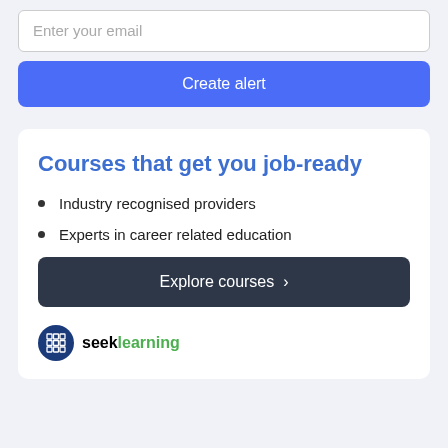Enter your email
Create alert
Courses that get you job-ready
Industry recognised providers
Experts in career related education
Explore courses >
[Figure (logo): seeklearning logo — circular dark blue icon with grid pattern, followed by text 'seek' in dark and 'learning' in green]